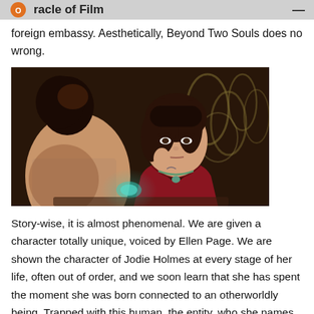Oracle of Film
foreign embassy. Aesthetically, Beyond Two Souls does no wrong.
[Figure (screenshot): Game screenshot from Beyond: Two Souls showing two women at what appears to be a bar or social gathering. One woman is seen from behind with her hair up, and the other faces the viewer wearing a red dress with a necklace, appearing to be Ellen Page's character Jodie Holmes. The background features ornate wallpaper.]
Story-wise, it is almost phenomenal. We are given a character totally unique, voiced by Ellen Page. We are shown the character of Jodie Holmes at every stage of her life, often out of order, and we soon learn that she has spent the moment she was born connected to an otherworldly being. Trapped with this human, the entity, who she names Aiden, grows angry and can be a vengeful and bitter force. As she is studied to figure out what lies